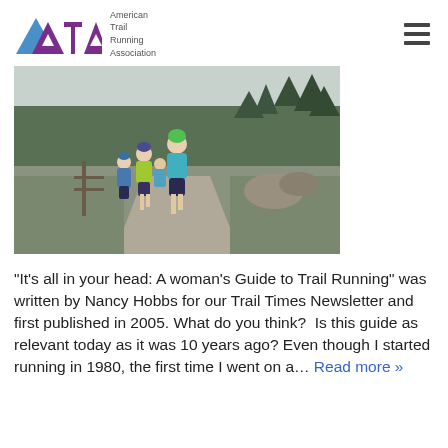American Trail Running Association
[Figure (photo): Group of trail runners running on a dirt trail through a forested mountain landscape on a cloudy day. The lead runner wears a teal/blue jacket and dark shorts. Other runners behind wear blue, yellow-green, and blue jackets.]
“It’s all in your head: A woman’s Guide to Trail Running” was written by Nancy Hobbs for our Trail Times Newsletter and first published in 2005. What do you think?  Is this guide as relevant today as it was 10 years ago? Even though I started running in 1980, the first time I went on a… Read more »